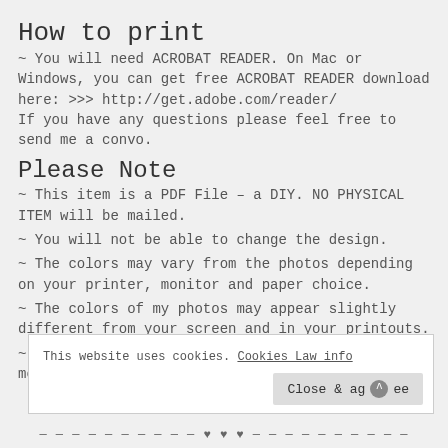How to print
~ You will need ACROBAT READER. On Mac or Windows, you can get free ACROBAT READER download here: >>> http://get.adobe.com/reader/ If you have any questions please feel free to send me a convo.
Please Note
~ This item is a PDF File – a DIY. NO PHYSICAL ITEM will be mailed.
~ You will not be able to change the design.
~ The colors may vary from the photos depending on your printer, monitor and paper choice.
~ The colors of my photos may appear slightly different from your screen and in your printouts.
~ Laser printers print usually darker and much more saturated than inkjet printers.
This website uses cookies. Cookies Law info
Close & agree
— — — — — — — — — — ♥ ♥ ♥ — — — — — — — — — —